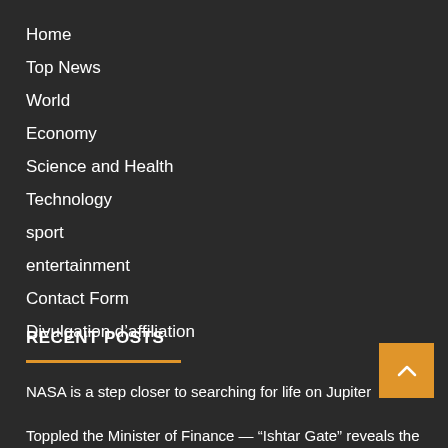Home
Top News
World
Economy
Science and Health
Technology
sport
entertainment
Contact Form
Divulgation d’affiliation
RECENT POSTS
NASA is a step closer to searching for life on Jupiter
Toppled the Minister of Finance — “Ishtar Gate” reveals the extent